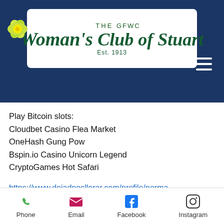[Figure (logo): The GFWC Woman's Club of Stuart, Est. 1913 logo with a yellow flower on a white rounded rectangle background, set on a dark navy blue header bar with a hamburger menu icon]
Play Bitcoin slots:
Cloudbet Casino Flea Market
OneHash Gung Pow
Bspin.io Casino Unicorn Legend
CryptoGames Hot Safari
https://www.dejadnosllorar.com/profile/normanwortham8248830/profile
https://www.mommatag.com/profile/tyrellzayicek15521095/profile
https://...
Phone  Email  Facebook  Instagram